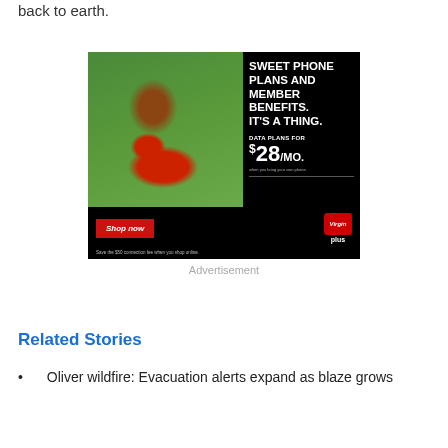back to earth.
[Figure (illustration): Virgin Plus advertisement showing a woman in a red dress lying on grass looking at her phone. Text reads: SWEET PHONE PLANS AND MEMBER BENEFITS. IT'S A THING. DATA PLANS FOR $28/MO. Shop now button. Save the $50 connection fee when you shop online.]
Advertisement
Related Stories
Oliver wildfire: Evacuation alerts expand as blaze grows